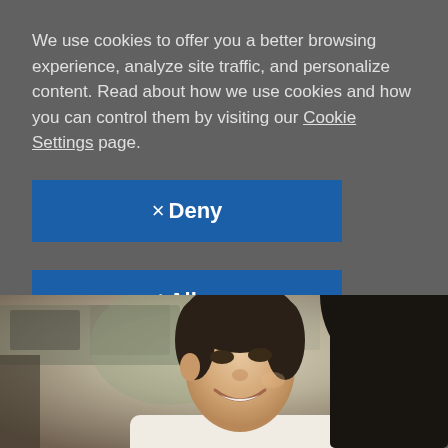We use cookies to offer you a better browsing experience, analyze site traffic, and personalize content. Read about how we use cookies and how you can control them by visiting our Cookie Settings page.
× Deny
✓ Allow
[Figure (photo): A smiling young man in a white shirt looking slightly downward, photographed from the side/front. A dark silhouette of another person is visible in the foreground right. Background is blurred office/indoor setting.]